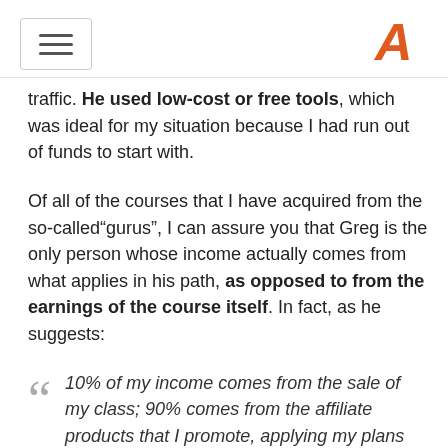[hamburger menu icon] [A logo]
traffic. He used low-cost or free tools, which was ideal for my situation because I had run out of funds to start with.
Of all of the courses that I have acquired from the so-called“gurus”, I can assure you that Greg is the only person whose income actually comes from what applies in his path, as opposed to from the earnings of the course itself. In fact, as he suggests:
““ 10% of my income comes from the sale of my class; 90% comes from the affiliate products that I promote, applying my plans
Greg Jeffries